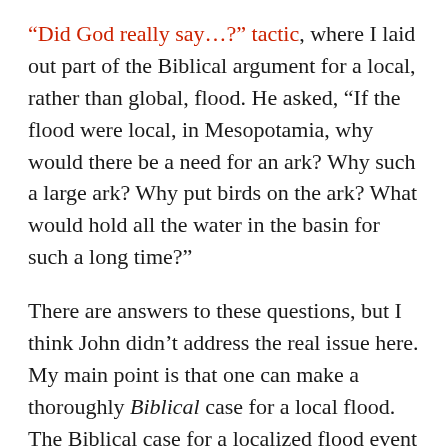“Did God really say…?” tactic, where I laid out part of the Biblical argument for a local, rather than global, flood. He asked, “If the flood were local, in Mesopotamia, why would there be a need for an ark? Why such a large ark? Why put birds on the ark? What would hold all the water in the basin for such a long time?”
There are answers to these questions, but I think John didn’t address the real issue here. My main point is that one can make a thoroughly Biblical case for a local flood. The Biblical case for a localized flood event is based on proper translation and looking at what the text actually says. Perhaps this was never done for much of Church history because there was no outside pressure to